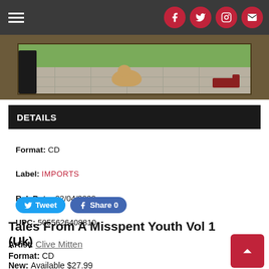Navigation bar with hamburger menu and social icons (Facebook, Twitter, Instagram, Email)
[Figure (photo): Outdoor photo showing a dog on patio tiles and a small train model, with a person visible on the left edge]
DETAILS
Format: CD
Label: IMPORTS
Rel. Date: 02/04/2022
UPC: 5055626408810
Tweet   Share 0
Tales From A Misspent Youth Vol 1 (Uk)
Artist: Clive Mitten
Format: CD
New: Available $27.99